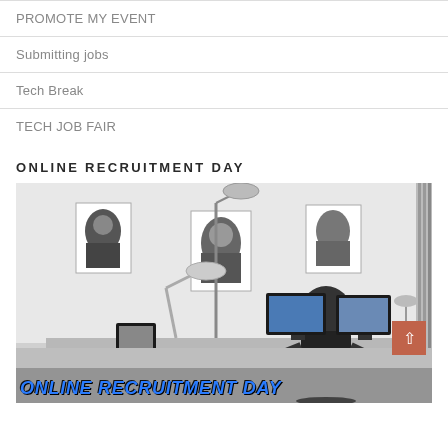PROMOTE MY EVENT
Submitting jobs
Tech Break
TECH JOB FAIR
ONLINE RECRUITMENT DAY
[Figure (photo): Black and white office photo showing a person sitting at a desk with monitors and lamps. Posters on the wall. Blue text overlay at the bottom reads ONLINE RECRUITMENT DAY. A salmon/red back-to-top button visible on the right side.]